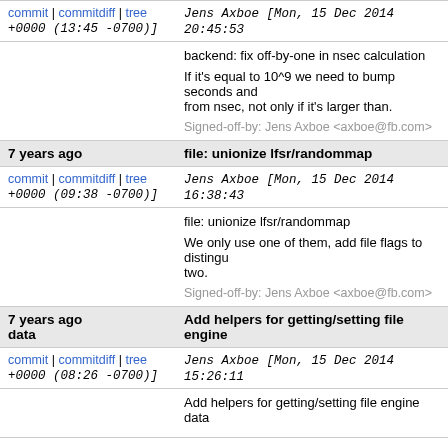commit | commitdiff | tree   Jens Axboe [Mon, 15 Dec 2014 20:45:53 +0000 (13:45 -0700)]
backend: fix off-by-one in nsec calculation

If it's equal to 10^9 we need to bump seconds and subtract from nsec, not only if it's larger than.

Signed-off-by: Jens Axboe <axboe@fb.com>
7 years ago   file: unionize lfsr/randommap
commit | commitdiff | tree   Jens Axboe [Mon, 15 Dec 2014 16:38:43 +0000 (09:38 -0700)]
file: unionize lfsr/randommap

We only use one of them, add file flags to distinguish two.

Signed-off-by: Jens Axboe <axboe@fb.com>
7 years ago   Add helpers for getting/setting file engine data
commit | commitdiff | tree   Jens Axboe [Mon, 15 Dec 2014 15:26:11 +0000 (08:26 -0700)]
Add helpers for getting/setting file engine data